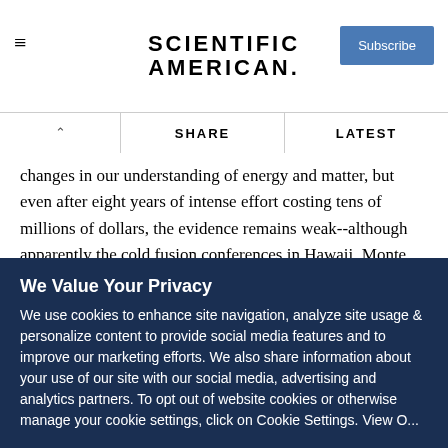SCIENTIFIC AMERICAN
changes in our understanding of energy and matter, but even after eight years of intense effort costing tens of millions of dollars, the evidence remains weak--although apparently the cold fusion conferences in Hawaii, Monte Carlo and elsewhere have been quite lavish. I now doubt 'cold fusion' is really an easy alchemical solution to the world's energy needs.
READ THIS NEXT
We Value Your Privacy
We use cookies to enhance site navigation, analyze site usage & personalize content to provide social media features and to improve our marketing efforts. We also share information about your use of our site with our social media, advertising and analytics partners. To opt out of website cookies or otherwise manage your cookie settings, click on Cookie Settings. View O...